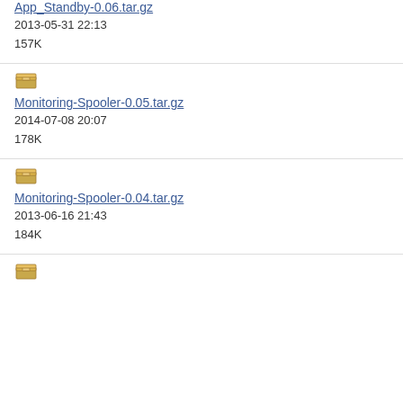App_Standby-0.06.tar.gz
2013-05-31 22:13
157K
[Figure (illustration): Archive/package box icon]
Monitoring-Spooler-0.05.tar.gz
2014-07-08 20:07
178K
[Figure (illustration): Archive/package box icon]
Monitoring-Spooler-0.04.tar.gz
2013-06-16 21:43
184K
[Figure (illustration): Archive/package box icon]